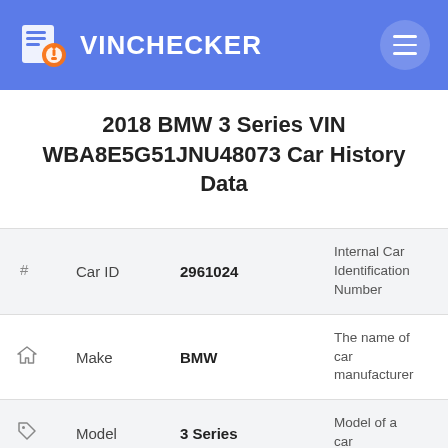VINCHECKER
2018 BMW 3 Series VIN WBA8E5G51JNU48073 Car History Data
| # | Field | Value | Description |
| --- | --- | --- | --- |
| # | Car ID | 2961024 | Internal Car Identification Number |
| house | Make | BMW | The name of car manufacturer |
| tag | Model | 3 Series | Model of a car |